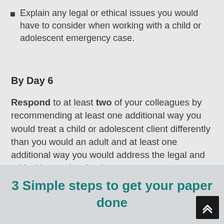Explain any legal or ethical issues you would have to consider when working with a child or adolescent emergency case.
By Day 6
Respond to at least two of your colleagues by recommending at least one additional way you would treat a child or adolescent client differently than you would an adult and at least one additional way you would address the legal and ethical issues involved.
3 Simple steps to get your paper done